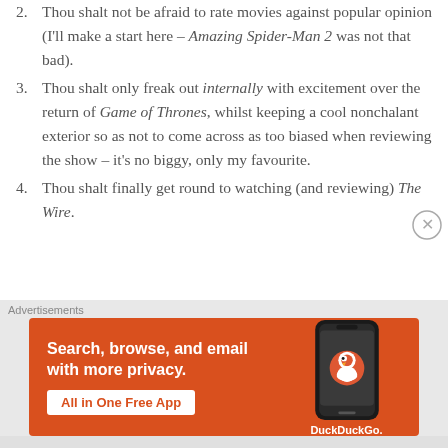Thou shalt not be afraid to rate movies against popular opinion (I'll make a start here – Amazing Spider-Man 2 was not that bad).
Thou shalt only freak out internally with excitement over the return of Game of Thrones, whilst keeping a cool nonchalant exterior so as not to come across as too biased when reviewing the show – it's no biggy, only my favourite.
Thou shalt finally get round to watching (and reviewing) The Wire.
[Figure (infographic): DuckDuckGo advertisement banner with orange background showing 'Search, browse, and email with more privacy. All in One Free App' text with a phone image and DuckDuckGo logo.]